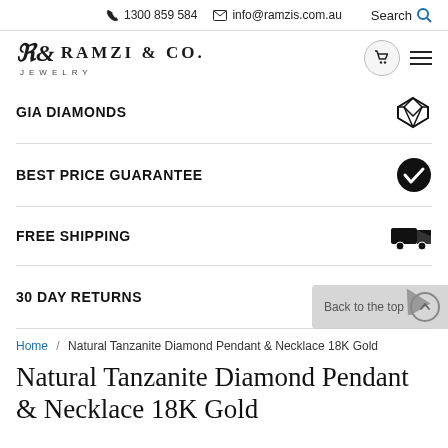1300 859 584   info@ramzis.com.au   Search
[Figure (logo): Ramzi & Co. Jewelry logo with stylized monogram]
GIA DIAMONDS
BEST PRICE GUARANTEE
FREE SHIPPING
30 DAY RETURNS
Home / Natural Tanzanite Diamond Pendant & Necklace 18K Gold
Natural Tanzanite Diamond Pendant & Necklace 18K Gold